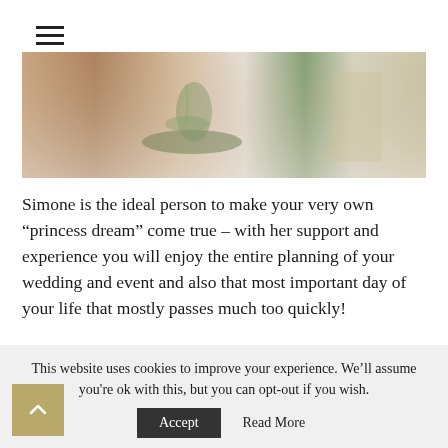[Figure (photo): A blurred photo of a table setting with what appears to be a wine glass and rustic decor on a light background.]
Simone is the ideal person to make your very own “princess dream” come true – with her support and experience you will enjoy the entire planning of your wedding and event and also that most important day of your life that mostly passes much too quickly!
This website uses cookies to improve your experience. We’ll assume you're ok with this, but you can opt-out if you wish.